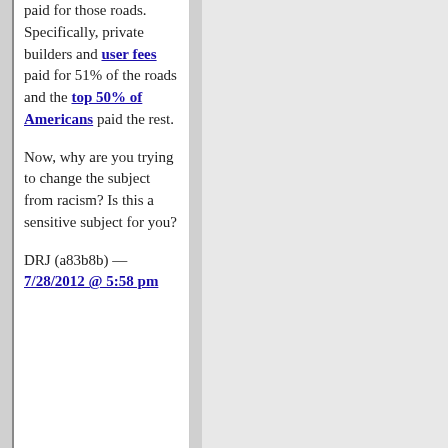paid for those roads. Specifically, private builders and user fees paid for 51% of the roads and the top 50% of Americans paid the rest.
Now, why are you trying to change the subject from racism? Is this a sensitive subject for you?
DRJ (a83b8b) — 7/28/2012 @ 5:58 pm